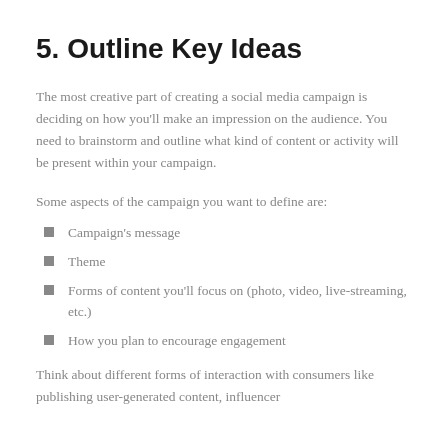5. Outline Key Ideas
The most creative part of creating a social media campaign is deciding on how you'll make an impression on the audience. You need to brainstorm and outline what kind of content or activity will be present within your campaign.
Some aspects of the campaign you want to define are:
Campaign's message
Theme
Forms of content you'll focus on (photo, video, live-streaming, etc.)
How you plan to encourage engagement
Think about different forms of interaction with consumers like publishing user-generated content, influencer